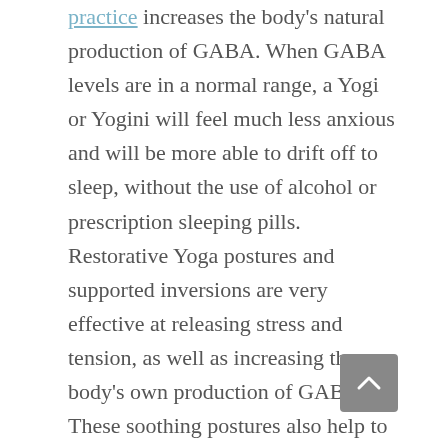practice increases the body's natural production of GABA. When GABA levels are in a normal range, a Yogi or Yogini will feel much less anxious and will be more able to drift off to sleep, without the use of alcohol or prescription sleeping pills. Restorative Yoga postures and supported inversions are very effective at releasing stress and tension, as well as increasing the body's own production of GABA. These soothing postures also help to quell an overactive mind to soothe anxious feelings and help people with addiction recovery. When restorative Yoga postures are practiced on a regular basis, such as Supported Child's Pose and Legs Up the Wall Pose, the mind begins to quiet and the...